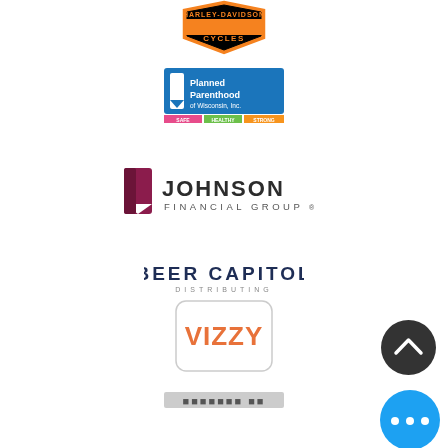[Figure (logo): Harley-Davidson Cycles logo, orange and black shield shape with bar and shield design]
[Figure (logo): Planned Parenthood of Wisconsin logo, blue rectangle with stylized P icon, colored safe/healthy/strong tagline bar]
[Figure (logo): Johnson Financial Group logo, dark red/maroon J bookmark icon with Johnson Financial Group text]
[Figure (logo): Beer Capitol Distributing text logo in dark navy uppercase letters]
[Figure (logo): Vizzy hard seltzer logo in rounded rectangle box, orange text on white background]
[Figure (logo): Blurred/redacted logo at bottom of page]
[Figure (other): Dark circular button with upward chevron arrow icon, scroll-to-top UI element]
[Figure (other): Blue circular button with three horizontal dots, more options UI element]